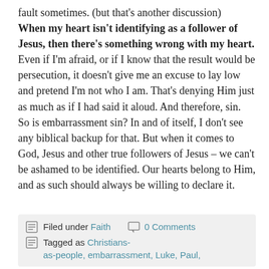fault sometimes. (but that's another discussion) When my heart isn't identifying as a follower of Jesus, then there's something wrong with my heart. Even if I'm afraid, or if I know that the result would be persecution, it doesn't give me an excuse to lay low and pretend I'm not who I am. That's denying Him just as much as if I had said it aloud. And therefore, sin. So is embarrassment sin? In and of itself, I don't see any biblical backup for that. But when it comes to God, Jesus and other true followers of Jesus – we can't be ashamed to be identified. Our hearts belong to Him, and as such should always be willing to declare it.
Filed under Faith   0 Comments
Tagged as Christians-as-people, embarrassment, Luke, Paul,